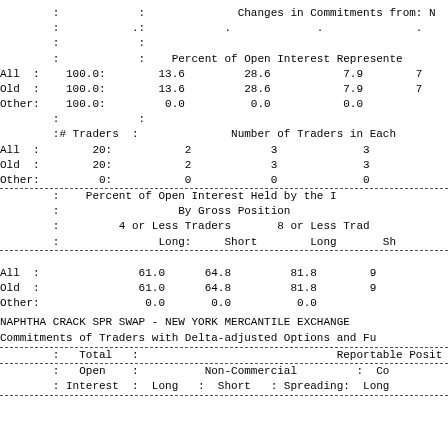|  | : |  | Changes in Commitments from: N |
|  | : | .. | . | . | . |
|  | : |  |  |  |  |
|  | : | Percent of Open Interest Represente |
| All | : | 100.0: | 13.6 | 28.6 | 7.9 | 7 |
| Old | : | 100.0: | 13.6 | 28.6 | 7.9 | 7 |
| Other: |  | 100.0: | 0.0 | 0.0 | 0.0 |
|  | : |  |  |  |  |
|  | :# Traders : |  | Number of Traders in Each |
| All | : | 20: | 2 | 3 | 3 |
| Old | : | 20: | 2 | 3 | 3 |
| Other: |  | 0: | 0 | 0 | 0 |
|  | Percent of Open Interest Held by the |
|  | By Gross Position |
|  | 4 or Less Traders | 8 or Less Tra |
|  | Long: | Short | Long | Sh |
| All | : | 61.0 | 64.8 | 81.8 | 9 |
| Old | : | 61.0 | 64.8 | 81.8 | 9 |
| Other: |  | 0.0 | 0.0 | 0.0 |
NAPHTHA CRACK SPR SWAP - NEW YORK MERCANTILE EXCHANGE
Commitments of Traders with Delta-adjusted Options and Fu
| Total | Reportable Posit |
| --- | --- |
| Open | Non-Commercial | Co |
| Interest | Long | Short | Spreading: | Lon |